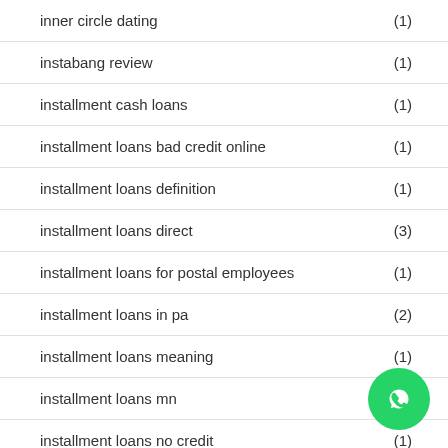inner circle dating (1)
instabang review (1)
installment cash loans (1)
installment loans bad credit online (1)
installment loans definition (1)
installment loans direct (3)
installment loans for postal employees (1)
installment loans in pa (2)
installment loans meaning (1)
installment loans mn
installment loans no credit (1)
[Figure (logo): WhatsApp chat button (green circle with phone handset icon)]